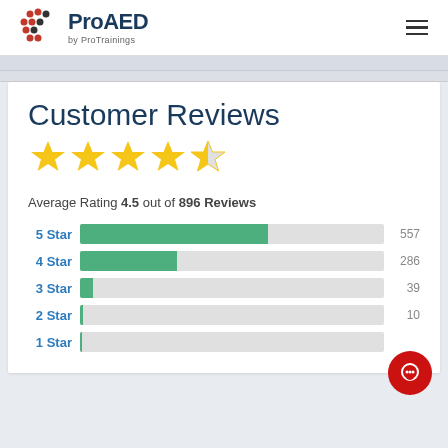[Figure (logo): ProAED by ProTrainings logo with red and black dot cluster icon]
Customer Reviews
[Figure (other): 4.5 out of 5 stars rating display — four full gold stars and one half gold star]
Average Rating 4.5 out of 896 Reviews
[Figure (bar-chart): Customer Reviews by Star Rating]